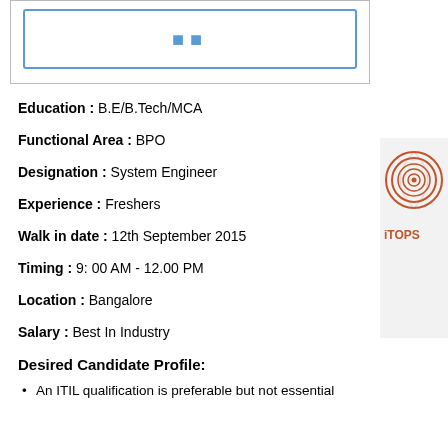[Figure (other): A box with blue border containing icon symbols, inside a light gray outlined container]
Education : B.E/B.Tech/MCA
Functional Area : BPO
Designation : System Engineer
Experience : Freshers
Walk in date : 12th September 2015
Timing : 9: 00 AM - 12.00 PM
Location : Bangalore
Salary : Best In Industry
Desired Candidate Profile:
An ITIL qualification is preferable but not essential